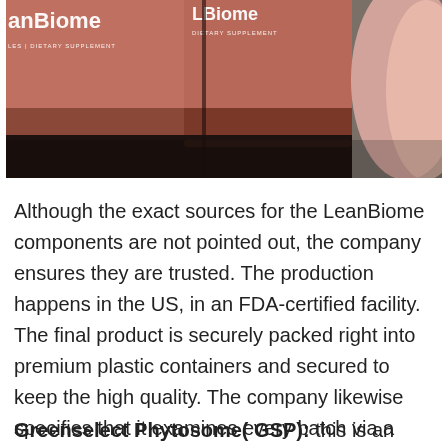[Figure (photo): Two LeanBiome dietary supplement bottles with salmon/terracotta colored labels on a gray surface, with a pink fabric or hand visible on the right side.]
Although the exact sources for the LeanBiome components are not pointed out, the company ensures they are trusted. The production happens in the US, in an FDA-certified facility. The final product is securely packed right into premium plastic containers and secured to keep the high quality. The company likewise specifies that it examines every batch via a third-party testing facility to prevent the threat of contamination.
Greenselect Phytosome( GSP): this is an organic